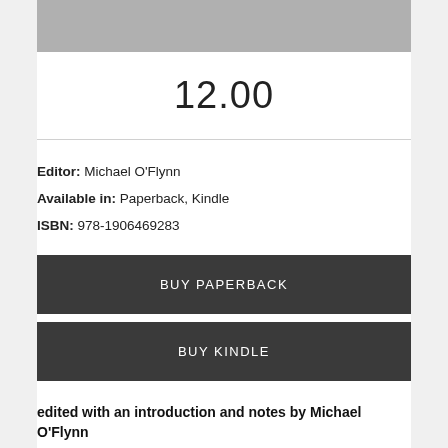[Figure (photo): Gray image placeholder at top of page]
12.00
Editor: Michael O'Flynn
Available in: Paperback, Kindle
ISBN: 978-1906469283
BUY PAPERBACK
BUY KINDLE
edited with an introduction and notes by Michael O'Flynn